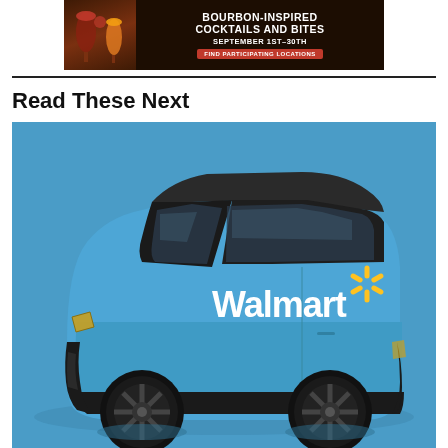[Figure (photo): Advertisement banner for bourbon-inspired cocktails and bites, September 1st-30th, with 'Find Participating Locations' button on dark brown background with cocktail drink images]
Read These Next
[Figure (photo): A blue Walmart-branded electric delivery van (Canoo) on a blue background, shown from a 3/4 rear-side angle. The van has a modern rounded design with dark roof and windows, black wheels, and the Walmart logo with yellow spark symbol on the side.]